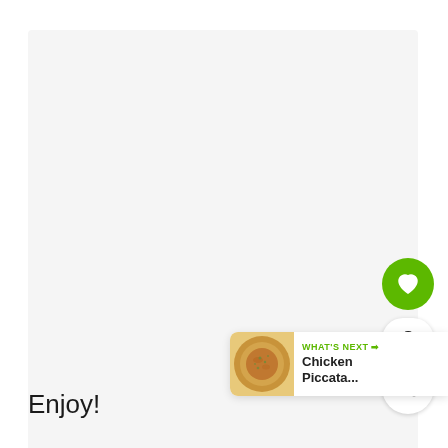[Figure (photo): Large light gray empty area representing a recipe photo placeholder]
[Figure (other): Green heart/like button circle with count '2' and share icon button]
[Figure (other): What's Next card showing Chicken Piccata thumbnail with label and title]
Enjoy!